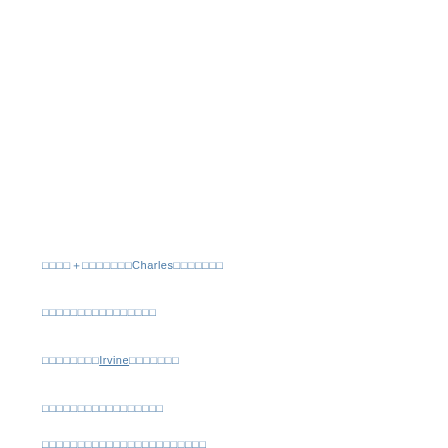□□□□＋□□□□□□□Charles□□□□□□□
□□□□□□□□□□□□□□□□
□□□□□□□□Irvine□□□□□□□
□□□□□□□□□□□□□□□□□
□□□□□□□□□□□□□□□□□□□□□□□